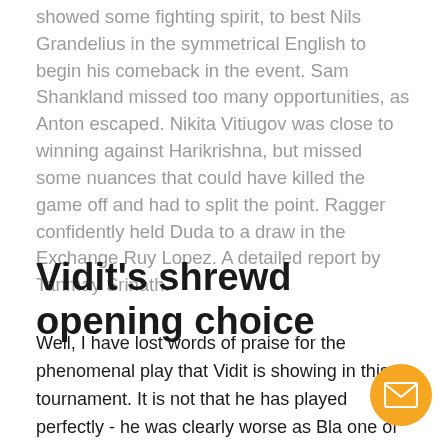showed some fighting spirit, to best Nils Grandelius in the symmetrical English to begin his comeback in the event. Sam Shankland missed too many opportunities, as Anton escaped. Nikita Vitiugov was close to winning against Harikrishna, but missed some nuances that could have killed the game off and had to split the point. Ragger confidently held Duda to a draw in the Exchange Ruy Lopez. A detailed report by Tanmay Srinath.
Vidit's shrewd opening choice
Well, I have lost words of praise for the phenomenal play that Vidit is showing in this tournament. It is not that he has played perfectly - he was clearly worse as Bla one of his games. However, what is striking is how Vi using chess psychology in his favour, and his opening choices